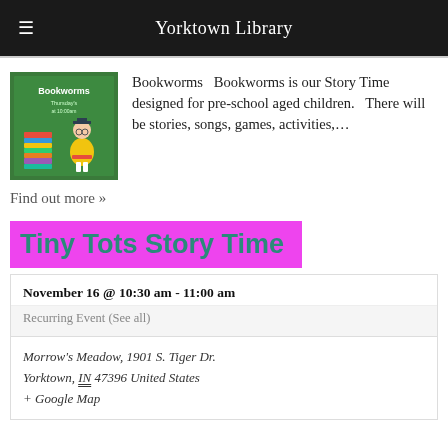Yorktown Library
[Figure (photo): Child sitting on books wearing graduation cap, Bookworms story time promotional image]
Bookworms   Bookworms is our Story Time designed for pre-school aged children.   There will be stories, songs, games, activities,…
Find out more »
Tiny Tots Story Time
November 16 @ 10:30 am - 11:00 am
Recurring Event (See all)
Morrow's Meadow, 1901 S. Tiger Dr.
Yorktown, IN 47396 United States
+ Google Map